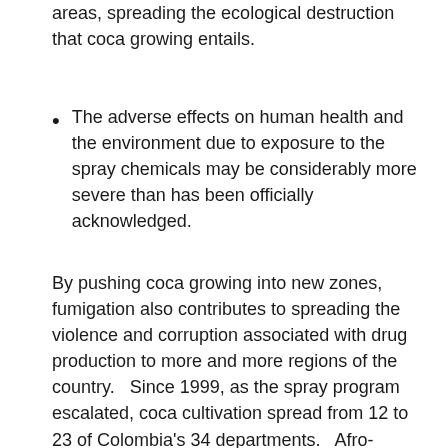areas, spreading the ecological destruction that coca growing entails.
The adverse effects on human health and the environment due to exposure to the spray chemicals may be considerably more severe than has been officially acknowledged.
By pushing coca growing into new zones, fumigation also contributes to spreading the violence and corruption associated with drug production to more and more regions of the country.   Since 1999, as the spray program escalated, coca cultivation spread from 12 to 23 of Colombia's 34 departments.   Afro-Colombian and indigenous communities have been particularly hard hit by coca's dispersal, the depredations of illegal armed actors involved in